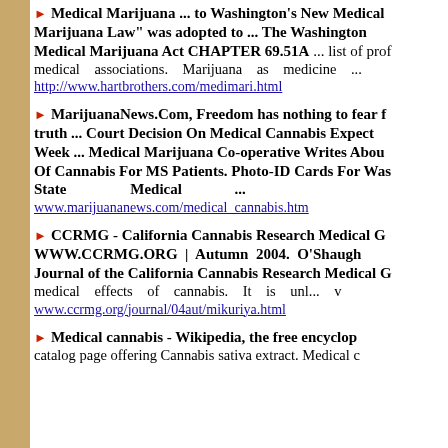Medical Marijuana ... to Washington's New Medical Marijuana Law" was adopted to ... The Washington Medical Marijuana Act CHAPTER 69.51A ... list of prof medical associations. Marijuana as medicine ... http://www.hartbrothers.com/medimari.html
MarijuanaNews.Com, Freedom has nothing to fear from truth ... Court Decision On Medical Cannabis Expected This Week ... Medical Marijuana Co-operative Writes About Benefits Of Cannabis For MS Patients. Photo-ID Cards For Washington State Medical ... www.marijuananews.com/medical_cannabis.htm
CCRMG - California Cannabis Research Medical Group | WWW.CCRMG.ORG | Autumn 2004. O'Shaughnessy's Journal of the California Cannabis Research Medical Group medical effects of cannabis. It is unl... www.ccrmg.org/journal/04aut/mikuriya.html
Medical cannabis - Wikipedia, the free encyclopedia catalog page offering Cannabis sativa extract. Medical c